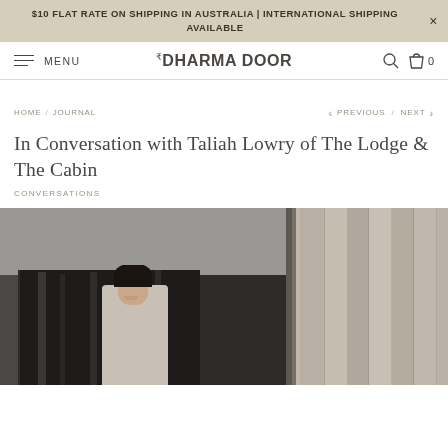$10 FLAT RATE ON SHIPPING IN AUSTRALIA | INTERNATIONAL SHIPPING AVAILABLE
MENU | THE DHARMA DOOR
HOME / JOURNAL
< PREVIOUS / NEXT >
In Conversation with Taliah Lowry of The Lodge & The Cabin
CONVERSATIONS
[Figure (photo): A woman with dark hair smiling, standing in front of dark curtains on the left panel. The right panel shows a close-up of wooden slatted wall texture.]